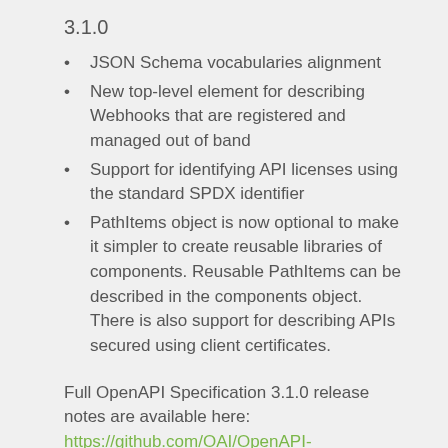3.1.0
JSON Schema vocabularies alignment
New top-level element for describing Webhooks that are registered and managed out of band
Support for identifying API licenses using the standard SPDX identifier
PathItems object is now optional to make it simpler to create reusable libraries of components. Reusable PathItems can be described in the components object. There is also support for describing APIs secured using client certificates.
Full OpenAPI Specification 3.1.0 release notes are available here: https://github.com/OAI/OpenAPI-Specification/releases/tag/3.1.0